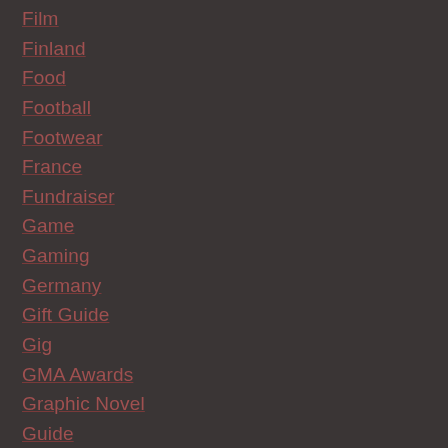Film
Finland
Food
Football
Footwear
France
Fundraiser
Game
Gaming
Germany
Gift Guide
Gig
GMA Awards
Graphic Novel
Guide
Guinness World Record
Guitars
Heavy Metal
HMV
Honours
India